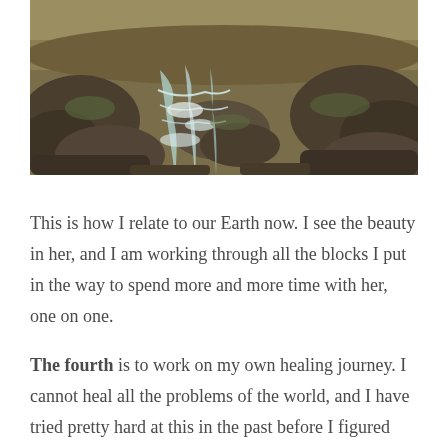[Figure (photo): Landscape photo of a rocky stream with cascading waterfalls flowing through dark mossy boulders, open moorland in the background under an overcast sky.]
This is how I relate to our Earth now. I see the beauty in her, and I am working through all the blocks I put in the way to spend more and more time with her, one on one.
The fourth is to work on my own healing journey. I cannot heal all the problems of the world, and I have tried pretty hard at this in the past before I figured that one out. But I do have a direct influence in healing myself; a 100%